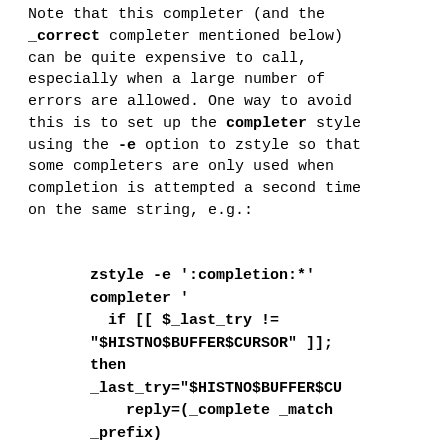Note that this completer (and the _correct completer mentioned below) can be quite expensive to call, especially when a large number of errors are allowed. One way to avoid this is to set up the completer style using the -e option to zstyle so that some completers are only used when completion is attempted a second time on the same string, e.g.:
[Figure (other): Code block showing zstyle -e ':completion:*' completer with shell script logic using $_last_try, $HISTNO$BUFFER$CURSOR, reply=(_complete _match _prefix), else reply=(_ignored]